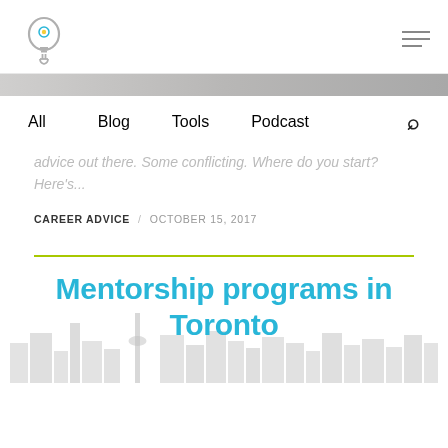Logo and navigation header
[Figure (screenshot): Gray hero banner strip at top of page]
All   Blog   Tools   Podcast
advice out there. Some conflicting. Where do you start? Here's...
CAREER ADVICE / OCTOBER 15, 2017
[Figure (illustration): Lime green horizontal divider line]
Mentorship programs in Toronto